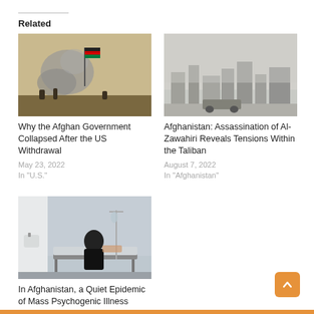Related
[Figure (photo): Military scene in desert with smoke and an Afghan flag]
Why the Afghan Government Collapsed After the US Withdrawal
May 23, 2022
In "U.S."
[Figure (photo): Hazy city skyline with smog or smoke]
Afghanistan: Assassination of Al-Zawahiri Reveals Tensions Within the Taliban
August 7, 2022
In "Afghanistan"
[Figure (photo): Hospital room with woman in black clothing sitting on a bed]
In Afghanistan, a Quiet Epidemic of Mass Psychogenic Illness
July 13, 2022